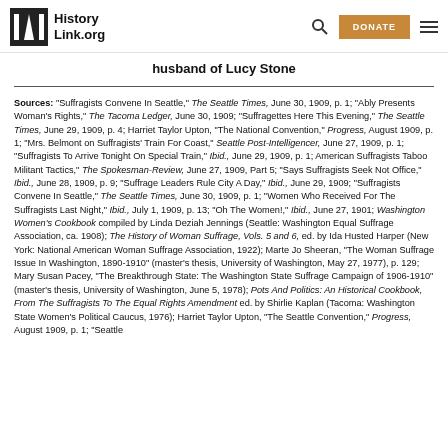HistoryLink.org
husband of Lucy Stone
Sources: "Suffragists Convene In Seattle," The Seattle Times, June 30, 1909, p. 1; "Ably Presents Woman's Rights," The Tacoma Ledger, June 30, 1909; "Suffragettes Here This Evening," The Seattle Times, June 29, 1909, p. 4; Harriet Taylor Upton, "The National Convention," Progress, August 1909, p. 1; "Mrs. Belmont on Suffragists' Train For Coast," Seattle Post-Intelligencer, June 27, 1909, p. 1; "Suffragists To Arrive Tonight On Special Train," Ibid., June 29, 1909, p. 1; American Suffragists Taboo Militant Tactics," The Spokesman-Review, June 27, 1909, Part 5; "Says Suffragists Seek Not Office," Ibid., June 28, 1909, p. 9; "Suffrage Leaders Rule City A Day," Ibid., June 29, 1909; "Suffragists Convene In Seattle," The Seattle Times, June 30, 1909, p. 1; "Women Who Received For The Suffragists Last Night," Ibid., July 1, 1909, p. 13; "Oh The Women!," Ibid., June 27, 1901; Washington Women's Cookbook compiled by Linda Deziah Jennings (Seattle: Washington Equal Suffrage Association, ca. 1908); The History of Woman Suffrage, Vols. 5 and 6, ed. by Ida Husted Harper (New York: National American Woman Suffrage Association, 1922); Marte Jo Sheeran, "The Woman Suffrage Issue In Washington, 1890-1910" (master's thesis, University of Washington, May 27, 1977), p. 129; Mary Susan Pacey, "The Breakthrough State: The Washington State Suffrage Campaign of 1906-1910" (master's thesis, University of Washington, June 5, 1978); Pots And Politics: An Historical Cookbook, From The Suffragists To The Equal Rights Amendment ed. by Shirlie Kaplan (Tacoma: Washington State Women's Political Caucus, 1976); Harriet Taylor Upton, "The Seattle Convention," Progress, August 1909, p. 1; "Seattle